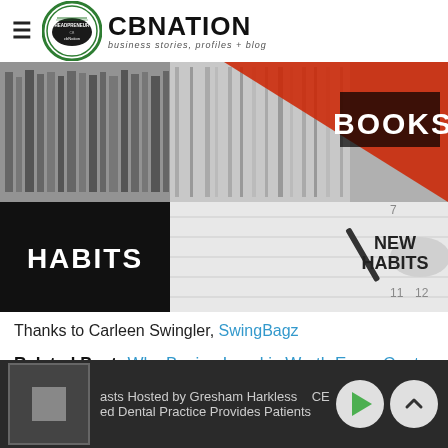CBNATION Business Stories, Profiles + Blog
[Figure (photo): Composite image showing shelves of books, a red triangle overlay, and a close-up of a hand writing 'NEW HABITS' on a calendar with a pen. Two text overlays: 'HABITS' on the left in white text on black, 'NEW HABITS' in the center.]
Thanks to Carleen Swingler, SwingBagz
Related Post: Why Buying Local is Worth Every Cent
Filling your unmet dental...
asts Hosted by Gresham Harkless CE | ed Dental Practice Provides Patients